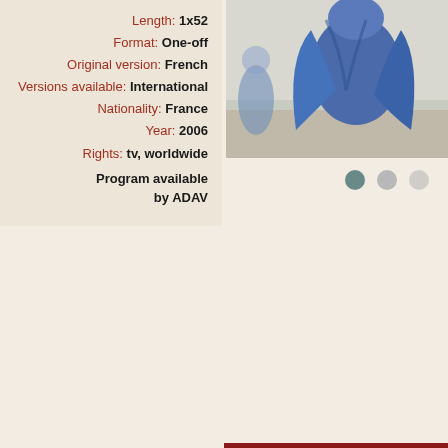Length: 1x52
Format: One-off
Original version: French
Versions available: International
Nationality: France
Year: 2006
Rights: tv, worldwide
Program available by ADAV
[Figure (photo): Photo of person in blue clothing viewed from behind in an interior space]
[Figure (other): Three navigation dots: one dark teal, one medium grey, one light grey]